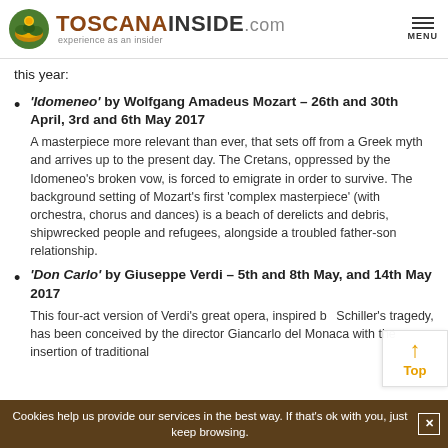TOSCANAINSIDE.com experience as an insider
this year:
'Idomeneo' by Wolfgang Amadeus Mozart – 26th and 30th April, 3rd and 6th May 2017
A masterpiece more relevant than ever, that sets off from a Greek myth and arrives up to the present day. The Cretans, oppressed by the Idomeneo's broken vow, is forced to emigrate in order to survive. The background setting of Mozart's first 'complex masterpiece' (with orchestra, chorus and dances) is a beach of derelicts and debris, shipwrecked people and refugees, alongside a troubled father-son relationship.
'Don Carlo' by Giuseppe Verdi – 5th and 8th May, and 14th May 2017
This four-act version of Verdi's great opera, inspired by Schiller's tragedy, has been conceived by the director Giancarlo del Monaca with the insertion of traditional
Cookies help us provide our services in the best way. If that's ok with you, just keep browsing.